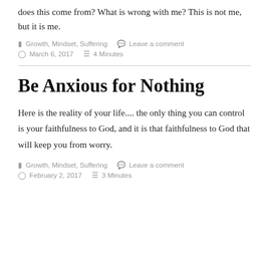does this come from? What is wrong with me? This is not me, but it is me.
Growth, Mindset, Suffering   Leave a comment   March 6, 2017   4 Minutes
Be Anxious for Nothing
Here is the reality of your life.... the only thing you can control is your faithfulness to God, and it is that faithfulness to God that will keep you from worry.
Growth, Mindset, Suffering   Leave a comment   February 2, 2017   3 Minutes